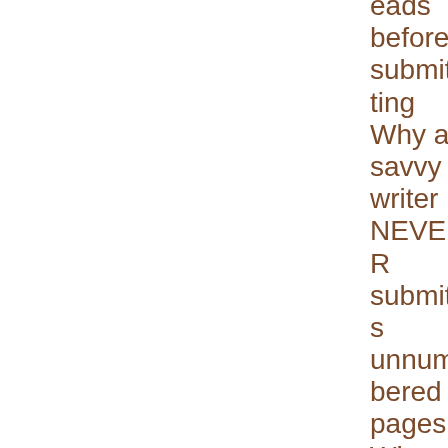eads before submitting Why a savvy writer NEVER submits unnumbered pages Why agencies so often use screeners